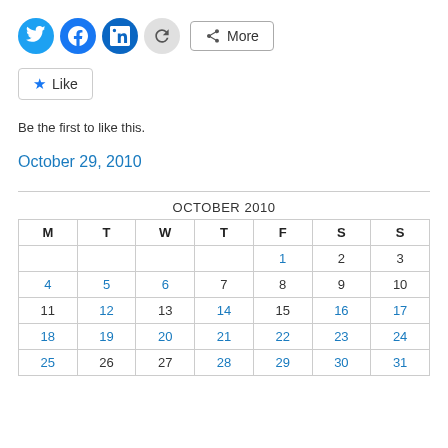[Figure (screenshot): Social share buttons row: Twitter (blue circle), Facebook (blue circle), LinkedIn (teal circle), refresh (grey circle), More button]
[Figure (screenshot): Like button with star icon]
Be the first to like this.
October 29, 2010
| M | T | W | T | F | S | S |
| --- | --- | --- | --- | --- | --- | --- |
|  |  |  |  | 1 | 2 | 3 |
| 4 | 5 | 6 | 7 | 8 | 9 | 10 |
| 11 | 12 | 13 | 14 | 15 | 16 | 17 |
| 18 | 19 | 20 | 21 | 22 | 23 | 24 |
| 25 | 26 | 27 | 28 | 29 | 30 | 31 |